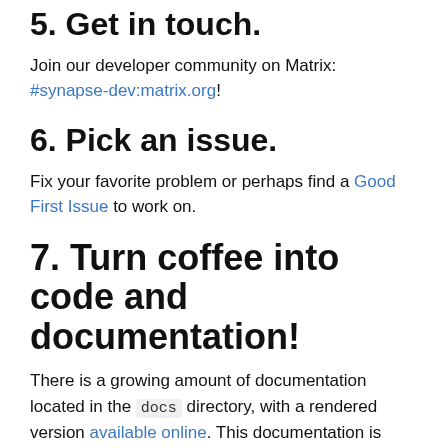5. Get in touch.
Join our developer community on Matrix: #synapse-dev:matrix.org!
6. Pick an issue.
Fix your favorite problem or perhaps find a Good First Issue to work on.
7. Turn coffee into code and documentation!
There is a growing amount of documentation located in the docs directory, with a rendered version available online. This documentation is intended primarily for sysadmins running their